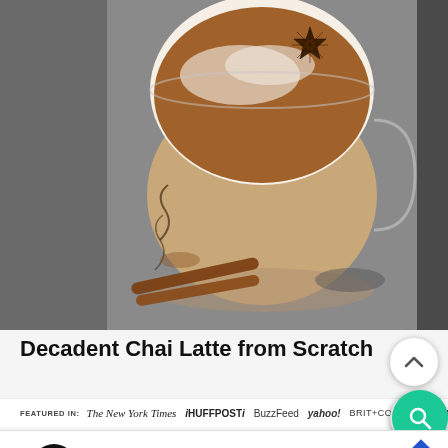[Figure (photo): Overhead top-down view of a chai latte in a glass mug with white foam, brown cinnamon powder dusting, and a star anise on top. Cinnamon sticks visible on gray surface below the mug.]
Decadent Chai Latte from Scratch
FEATURED IN: The New York Times IHUFFPOSTI BuzzFeed yahoo! BRIT+CO SHAPE Ma...
[Figure (infographic): Advertisement banner: Visit Premium Outlets® Leesburg Premium Outlets with circular logo and blue diamond arrow icon]